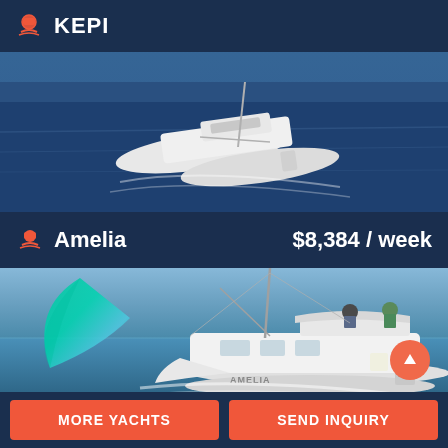KEPI
[Figure (photo): A white catamaran yacht photographed from above/side, sailing on deep blue water]
Amelia   $8,384 / week
[Figure (photo): A white catamaran named AMELIA sailing with colorful spinnaker sail deployed, two people visible on deck]
MORE YACHTS
SEND INQUIRY